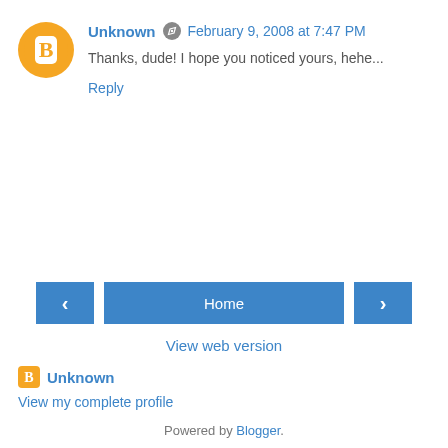[Figure (illustration): Blogger avatar icon: orange circle with white 'B' letter logo inside]
Unknown  February 9, 2008 at 7:47 PM
Thanks, dude! I hope you noticed yours, hehe...
Reply
[Figure (illustration): Navigation bar with left arrow button, Home button, and right arrow button]
View web version
[Figure (logo): Small orange Blogger icon]
Unknown
View my complete profile
Powered by Blogger.